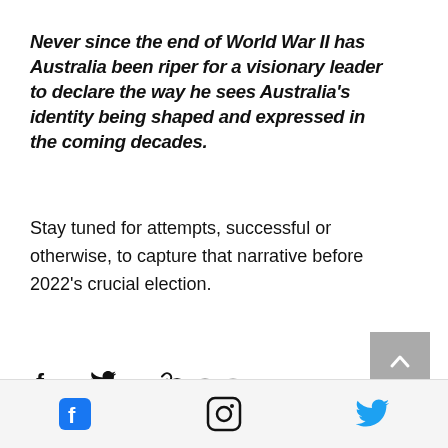Never since the end of World War II has Australia been riper for a visionary leader to declare the way he sees Australia's identity being shaped and expressed in the coming decades.
Stay tuned for attempts, successful or otherwise, to capture that narrative before 2022's crucial election.
[Figure (infographic): Social share icons: Facebook (f), Twitter (bird), and link/copy icon]
[Figure (infographic): Pagination dots (three dots, first filled black, two grey) and a scroll-to-top button (grey square with upward chevron)]
[Figure (infographic): Footer bar with Facebook, Instagram, and Twitter social media icons]